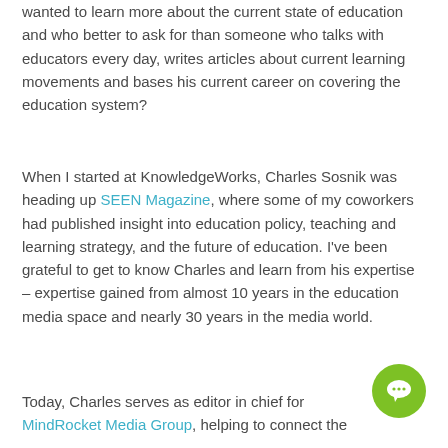wanted to learn more about the current state of education and who better to ask for than someone who talks with educators every day, writes articles about current learning movements and bases his current career on covering the education system?
When I started at KnowledgeWorks, Charles Sosnik was heading up SEEN Magazine, where some of my coworkers had published insight into education policy, teaching and learning strategy, and the future of education. I've been grateful to get to know Charles and learn from his expertise – expertise gained from almost 10 years in the education media space and nearly 30 years in the media world.
Today, Charles serves as editor in chief for MindRocket Media Group, helping to connect the